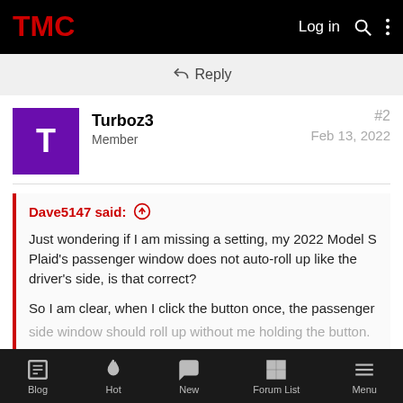TMC — Log in
Reply
Turboz3
Member
#2
Feb 13, 2022
Dave5147 said: ↑

Just wondering if I am missing a setting, my 2022 Model S Plaid's passenger window does not auto-roll up like the driver's side, is that correct?

So I am clear, when I click the button once, the passenger side window should roll up without me holding the button.

Click to expand...
Blog | Hot | New | Forum List | Menu